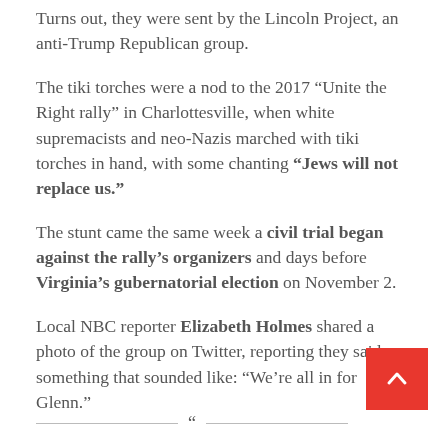Turns out, they were sent by the Lincoln Project, an anti-Trump Republican group.
The tiki torches were a nod to the 2017 “Unite the Right rally” in Charlottesville, when white supremacists and neo-Nazis marched with tiki torches in hand, with some chanting “Jews will not replace us.”
The stunt came the same week a civil trial began against the rally’s organizers and days before Virginia’s gubernatorial election on November 2.
Local NBC reporter Elizabeth Holmes shared a photo of the group on Twitter, reporting they said something that sounded like: “We’re all in for Glenn.”